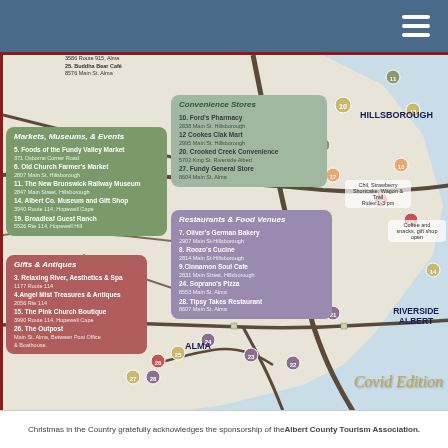[Figure (map): Road map of the Hillsborough, Riverside Albert, and Alma area showing numbered locations for Christmas in the Country Covid Edition event. Numbered markers (3-28) indicate businesses on the map roads. Legend boxes on the left and center list businesses by category.]
3586 Route 915, Alma
25. Buddha Bear Café
8576 Main St, Alma
Markets, Museums, & Events
5. Foods of the Fundy Valley Market
371 Osborne Corner Road.
6. Old Church Farmer's Market
2807 Main St, Hillsborough
11. The New Brunswick Railway Museum
2847 Main Street, Hillsborough
14. Albert Co. Museum and Gift Shop
3940 Route 114, Hopewell Cape
19. Broadleaf Guest Ranch
5526 Rte 114, Hopewell Hill
Convenience Stores
10. Ford's Pharmacy
2838 Main St. Hillsborough
12 Cookes Clak Mart
2995 Main St. Hillsborough
20. Crooked Creek Convenience
5702 King St. Riverside Albert
27. Fundy General Store
8604 Main St. Alma
Gifts & Antiques
3. Relaxing River, Aesthetics & Spa
1177 Route 114
4.Angel Mist Treasures & Antiques
2056 Rte 114
15. The Pink Church Boutique
3990 Route 114, Hopewell Cape
26. The Outpost
Main St. Alma, Between Post Office & Boathouse.
Restaurants & Food Venues
7. Oliver's German Bakery
2907 Main St-Hillsborough
8. Roozo's Cucine
2814 Main St-Hillsborough
9.Cinnamon Soul Cafe
2831 Main Street, Hillsborough
24. Soprano's Pizza
8553 Main St. Alma
28. Tipsy Takes Restaurant
8607 Main St. Alma
Chil, Strawberry Shortcake, Wagon & Trail Rides 1-3 pm
Coffee and snacks, gift shop open
HILLSBOROUGH
RIVERSIDE ALBERT
ALMA
Covid Edition
Christmas in the Country gratefully acknowledges the sponsorship of the Albert County Tourism Association.